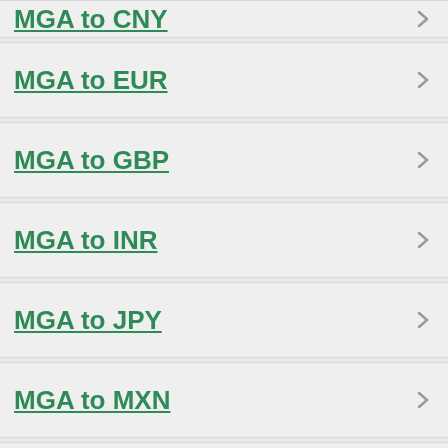MGA to CNY
MGA to EUR
MGA to GBP
MGA to INR
MGA to JPY
MGA to MXN
MGA to Break
MGA to AED
MGA to AFN
MGA to ALL
MGA to AMD
MGA to ANG